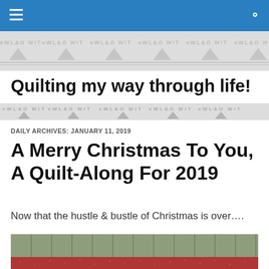Navigation bar with hamburger menu and search icon
[Figure (illustration): Repeating watermark/banner strip with quilt-related text and triangle motifs in light gray]
Quilting my way through life!
[Figure (illustration): Repeating quilting pattern strip with triangle motifs and watermark text in gray]
DAILY ARCHIVES: JANUARY 11, 2019
A Merry Christmas To You, A Quilt-Along For 2019
Now that the hustle & bustle of Christmas is over....
[Figure (photo): Photo of a quilt hanging against a sage green wooden board wall, with a red patterned fabric strip visible at the bottom]